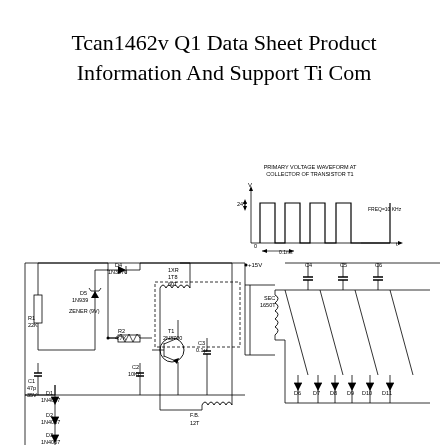Tcan1462v Q1 Data Sheet Product Information And Support Ti Com
[Figure (circuit-diagram): Electronic circuit schematic showing a switching power supply with transformer, transistor T1 (2N3700), diodes D1-D11 (1N4007), zener diode D5 (1N939, 9V), diode D4 (1N3070), capacitors C1 (47p, 35V), C2 (10Kp), C3 (0.1u), C4, C5, C6, resistors R1 (22K), R2 (4.7K), transformer with primary winding 1XR 1T8 60T and feedback winding FB 12T, secondary winding SEC 1650T, and a waveform diagram showing primary voltage waveform at collector of transistor T1 with 24V amplitude at FREQ=10 KHz with 0.1ms time marker.]